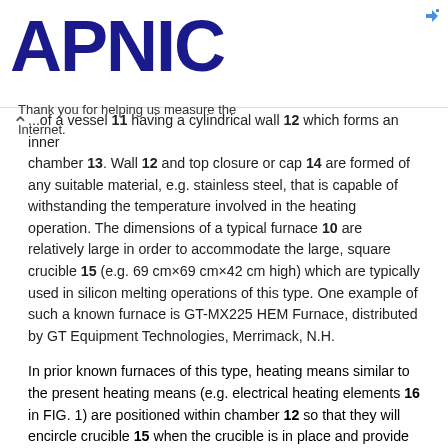APNIC — Thank you for helping us measure the Internet.
...of a vessel 11 having a cylindrical wall 12 which forms an inner chamber 13. Wall 12 and top closure or cap 14 are formed of any suitable material, e.g. stainless steel, that is capable of withstanding the temperature involved in the heating operation. The dimensions of a typical furnace 10 are relatively large in order to accommodate the large, square crucible 15 (e.g. 69 cm×69 cm×42 cm high) which are typically used in silicon melting operations of this type. One example of such a known furnace is GT-MX225 HEM Furnace, distributed by GT Equipment Technologies, Merrimack, N.H.
In prior known furnaces of this type, heating means similar to the present heating means (e.g. electrical heating elements 16 in FIG. 1) are positioned within chamber 12 so that they will encircle crucible 15 when the crucible is in place and provide the heat for melting the material in crucible 15, e.g. silicon. However, the temperatures needed to melt materials such as silicon are so high (e.g. about 1500° C.) that the heat will damage the wall 12 of the vessel 11 if the wall is left unprotected. In addition to water-cooling the wall 12 of the vessel 11 (not shown), large amounts of insulation have to be provided between the heating elements 16 and the wall 12 of the vessel to further protect the wall from the excessive heat.